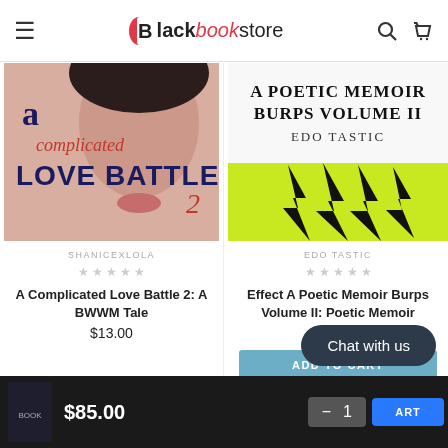Blackbookstore — navigation header
[Figure (screenshot): Book cover for 'A Complicated Love Battle 2: A BWWM Tale' by ShanicexLola showing a woman's face and book title text]
SHANICEXLOLA
☆ ☆ ☆ ☆ ☆
A Complicated Love Battle 2: A BWWM Tale
$13.00
[Figure (screenshot): Book cover for 'Effect A Poetic Memoir Burps Volume II: Poetic Memoir' by Edo Tastic showing yellow and black abstract design]
EDO TASTIC
☆ ☆ ☆ ☆ ☆
Effect A Poetic Memoir Burps Volume II: Poetic Memoir
$15.78
ADD TO CART
Chat with us
$85.00  −  1  ...ART